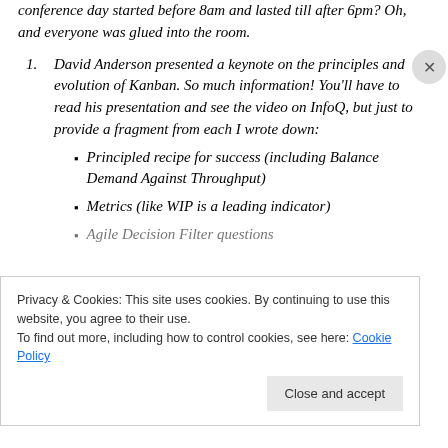conference day started before 8am and lasted till after 6pm? Oh, and everyone was glued into the room.
David Anderson presented a keynote on the principles and evolution of Kanban. So much information! You'll have to read his presentation and see the video on InfoQ, but just to provide a fragment from each I wrote down:
Principled recipe for success (including Balance Demand Against Throughput)
Metrics (like WIP is a leading indicator)
Agile Decision Filter questions
Privacy & Cookies: This site uses cookies. By continuing to use this website, you agree to their use.
To find out more, including how to control cookies, see here: Cookie Policy